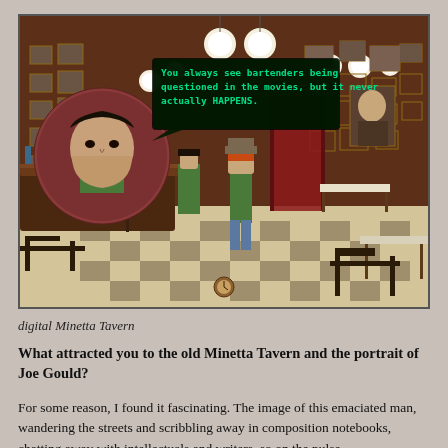[Figure (screenshot): A screenshot from a point-and-click adventure video game showing a bar/tavern interior with checkered floor, framed pictures on walls, pendant globe lights, a bar counter on the left, and two characters standing in the middle. A circular portrait avatar of the protagonist appears in the upper left with a dialogue speech bubble reading: 'You always see bartenders being questioned in the movies, but it never actually HAPPENS.' A small icon appears at the bottom center.]
digital Minetta Tavern
What attracted you to the old Minetta Tavern and the portrait of Joe Gould?
For some reason, I found it fascinating. The image of this emaciated man, wandering the streets and scribbling away in composition notebooks, chatting away with intellectuals and writers, so on the pulse